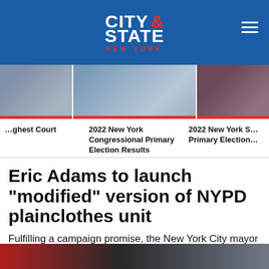CITY & STATE NEW YORK
[Figure (photo): Three cropped photo thumbnails in a horizontal strip showing people at political or civic events]
ghest Court
2022 New York Congressional Primary Election Results
2022 New York S… Primary Election…
Eric Adams to launch “modified” version of NYPD plainclothes unit
Fulfilling a campaign promise, the New York City mayor laid out plans for the latest iteration of the “anti-crime unit” that was formed in the 1970s.
[Figure (photo): Bottom edge of an outdoor street scene photo, partially visible]